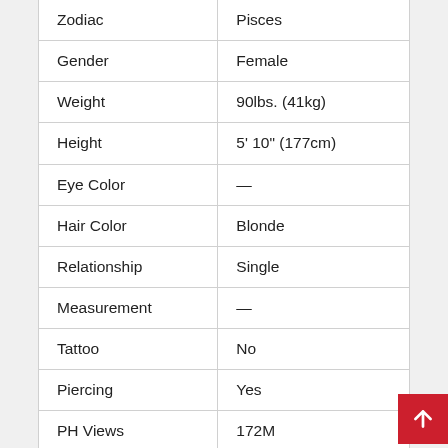|  |  |
| --- | --- |
| Zodiac | Pisces |
| Gender | Female |
| Weight | 90lbs. (41kg) |
| Height | 5' 10" (177cm) |
| Eye Color | — |
| Hair Color | Blonde |
| Relationship | Single |
| Measurement | — |
| Tattoo | No |
| Piercing | Yes |
| PH Views | 172M |